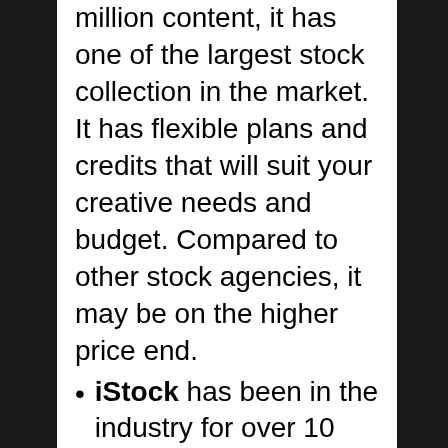million content, it has one of the largest stock collection in the market. It has flexible plans and credits that will suit your creative needs and budget. Compared to other stock agencies, it may be on the higher price end.
iStock has been in the industry for over 10 years. It allows you to buy stock photography via credits and subscription plans. If you are looking for really unique images, the stock site has some of the highest quality images in the market. Their regular images are great and their collection has millions.
Adobe Stock is one of the